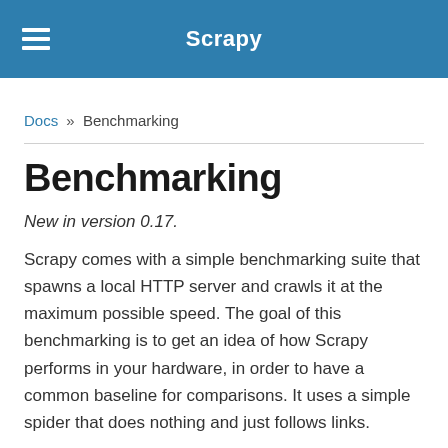Scrapy
Docs » Benchmarking
Benchmarking
New in version 0.17.
Scrapy comes with a simple benchmarking suite that spawns a local HTTP server and crawls it at the maximum possible speed. The goal of this benchmarking is to get an idea of how Scrapy performs in your hardware, in order to have a common baseline for comparisons. It uses a simple spider that does nothing and just follows links.